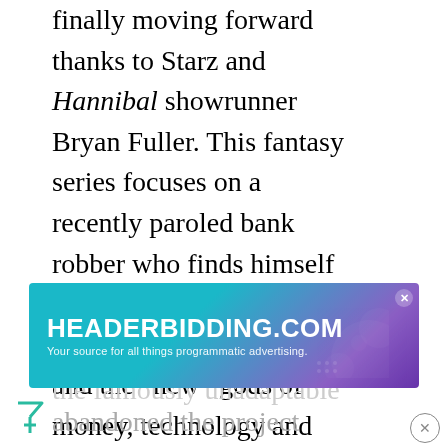Television's White Whale is finally moving forward thanks to Starz and Hannibal showrunner Bryan Fuller. This fantasy series focuses on a recently paroled bank robber who finds himself in the middle of a war between old Norse gods and the “new” gods of money, technology and retweets. There’s no guarantee Fuller can nail the famously unadaptable abandoned the project
[Figure (other): HEADERBIDDING.COM advertisement banner with teal and purple gradient background. Text reads: HEADERBIDDING.COM / Your source for all things programmatic advertising.]